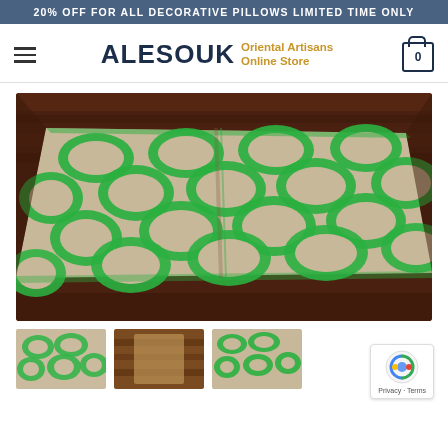20% OFF FOR ALL DECORATIVE PILLOWS LIMITED TIME ONLY
ALESOUK Oriental Artisans Online Store
[Figure (photo): Close-up photo of a green and beige geometric patterned rug on a wooden floor surface]
[Figure (photo): Thumbnail of green patterned rug]
[Figure (photo): Thumbnail of brown/tan item]
[Figure (photo): Thumbnail of green patterned item]